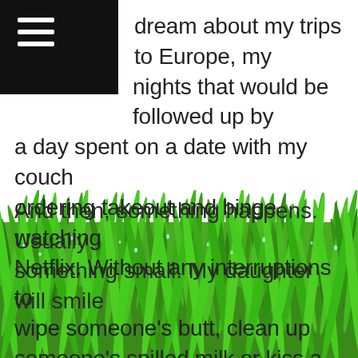[Figure (illustration): Black top-left corner bar with white hamburger menu icon (three horizontal lines)]
dream about my trips to Europe, my nights that would be followed up by a day spent on a date with my couch ordering takeout and binge watching Netflix. Without any interruptions to wipe someone's butt, clean up someone's spilled milk or kiss a boo boo.

I ponder these things on my bad days and wonder what kind of life I would have had, if I had chosen not to have kids.

And then, something happens. Usually something small. My daughter will smile
[Figure (photo): Green grass with water droplets filling the bottom portion of the image, overlapping the last lines of text]